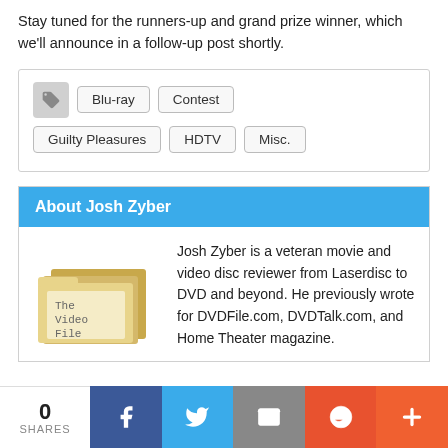Stay tuned for the runners-up and grand prize winner, which we'll announce in a follow-up post shortly.
Tags: Blu-ray, Contest, Guilty Pleasures, HDTV, Misc.
About Josh Zyber
Josh Zyber is a veteran movie and video disc reviewer from Laserdisc to DVD and beyond. He previously wrote for DVDFile.com, DVDTalk.com, and Home Theater magazine.
0 SHARES | Facebook | Twitter | Email | Reddit | More